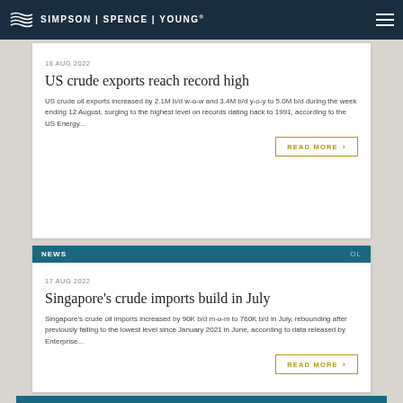SIMPSON | SPENCE | YOUNG®
18 AUG 2022
US crude exports reach record high
US crude oil exports increased by 2.1M b/d w-o-w and 3.4M b/d y-o-y to 5.0M b/d during the week ending 12 August, surging to the highest level on records dating back to 1991, according to the US Energy...
READ MORE
NEWS  OL
17 AUG 2022
Singapore's crude imports build in July
Singapore's crude oil imports increased by 90K b/d m-o-m to 760K b/d in July, rebounding after previously falling to the lowest level since January 2021 in June, according to data released by Enterprise...
READ MORE
NEWS  GOV